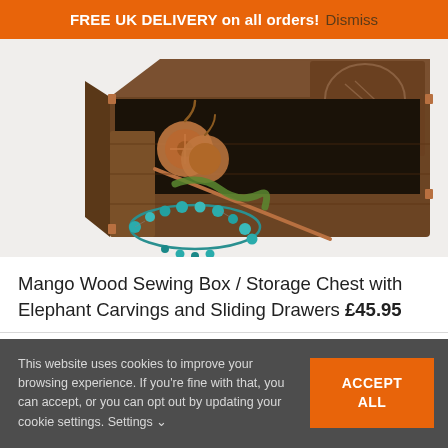FREE UK DELIVERY on all orders! Dismiss
[Figure (photo): Mango wood sewing box / storage chest with elephant carvings and sliding drawers, shown open with copper earrings and a turquoise bracelet displayed on a white background.]
Mango Wood Sewing Box / Storage Chest with Elephant Carvings and Sliding Drawers £45.95
This website uses cookies to improve your browsing experience. If you're fine with that, you can accept, or you can opt out by updating your cookie settings. Settings